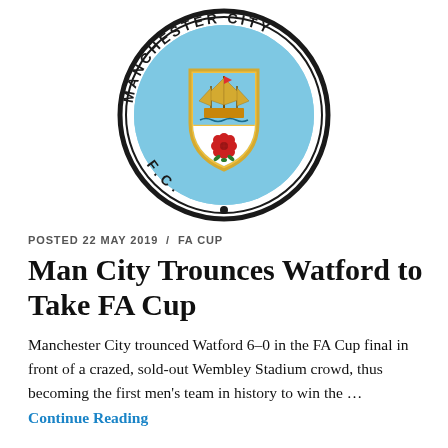[Figure (logo): Manchester City F.C. circular crest logo with ship and red rose on shield, surrounded by text 'MANCHESTER CITY F.C.']
POSTED 22 MAY 2019 / FA CUP
Man City Trounces Watford to Take FA Cup
Manchester City trounced Watford 6–0 in the FA Cup final in front of a crazed, sold-out Wembley Stadium crowd, thus becoming the first men's team in history to win the …
Continue Reading